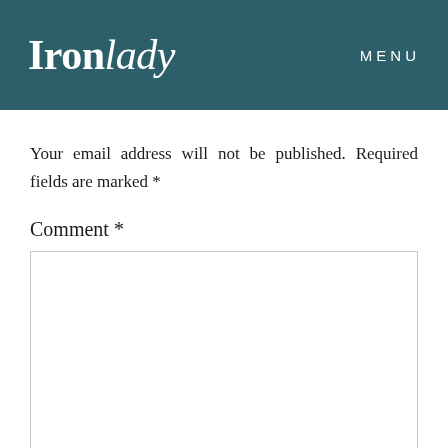Ironlady   MENU
Your email address will not be published. Required fields are marked *
Comment *
[Figure (other): Empty comment text input box]